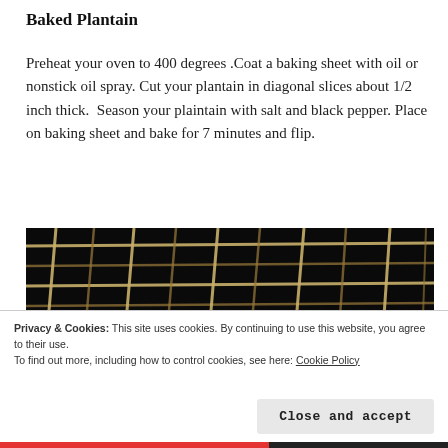Baked Plantain
Preheat your oven to 400 degrees .Coat a baking sheet with oil or nonstick oil spray. Cut your plantain in diagonal slices about 1/2 inch thick.  Season your plaintain with salt and black pepper. Place on baking sheet and bake for 7 minutes and flip.
[Figure (photo): Close-up photo of metal oven rack grates with dark background, showing grid pattern of wire racks.]
Privacy & Cookies: This site uses cookies. By continuing to use this website, you agree to their use.
To find out more, including how to control cookies, see here: Cookie Policy
Close and accept